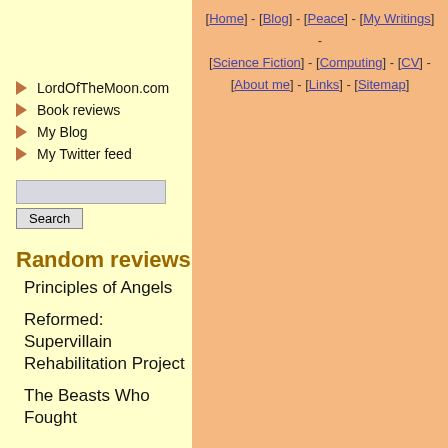[Home] - [Blog] - [Peace] - [My Writings] - [Science Fiction] - [Computing] - [CV] - [About me] - [Links] - [Sitemap]
LordOfTheMoon.com
Book reviews
My Blog
My Twitter feed
Random reviews
Principles of Angels
Reformed: Supervillain Rehabilitation Project
The Beasts Who Fought